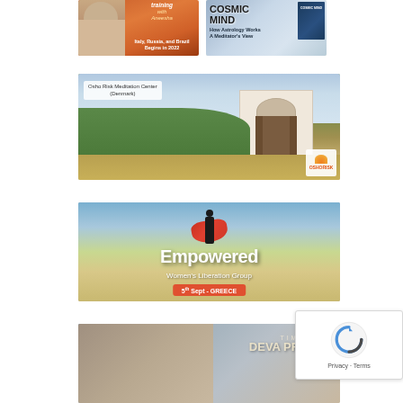[Figure (illustration): Advertisement for meditation/spiritual training with Aneesha — Italy, Russia, and Brazil begins in 2022. Orange background with photo of a woman with long grey hair.]
[Figure (illustration): Advertisement for book 'Cosmic Mind — How Astrology Works, A Meditator's View'. Blue/grey background with book cover image.]
[Figure (photo): Advertisement for Osho Risk Meditation Center (Denmark). Wide banner showing a peaceful building with sunburst window surrounded by trees and lavender fields. OshoRisk logo in bottom right.]
[Figure (photo): Advertisement for 'Empowered — Women's Liberation Group' event on 5th Sept in Greece. Banner with silhouette of a person with arms raised and red cape/scarf against sky background.]
[Figure (photo): Advertisement for 'Timeless — Deva Premal & Miten'. Banner showing portraits of two people with event title text.]
[Figure (illustration): Google reCAPTCHA widget showing the reCAPTCHA logo and 'Privacy - Terms' text.]